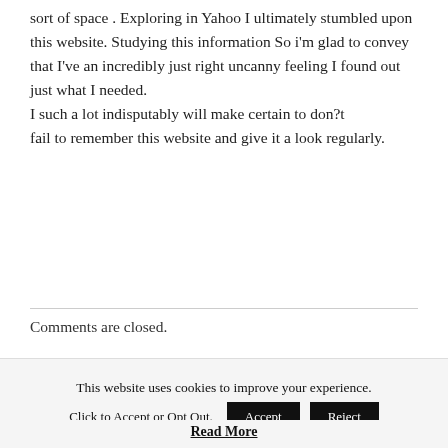sort of space . Exploring in Yahoo I ultimately stumbled upon this website. Studying this information So i'm glad to convey that I've an incredibly just right uncanny feeling I found out just what I needed. I such a lot indisputably will make certain to don?t fail to remember this website and give it a look regularly.
Comments are closed.
This website uses cookies to improve your experience. Click to Accept or Opt Out.
Read More